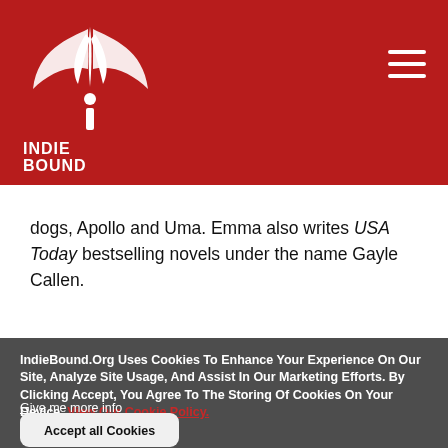IndieBound logo and navigation header
dogs, Apollo and Uma. Emma also writes USA Today bestselling novels under the name Gayle Callen.
IndieBound.Org Uses Cookies To Enhance Your Experience On Our Site, Analyze Site Usage, And Assist In Our Marketing Efforts. By Clicking Accept, You Agree To The Storing Of Cookies On Your Device. View Our Cookie Policy.
Give me more info
Accept all Cookies